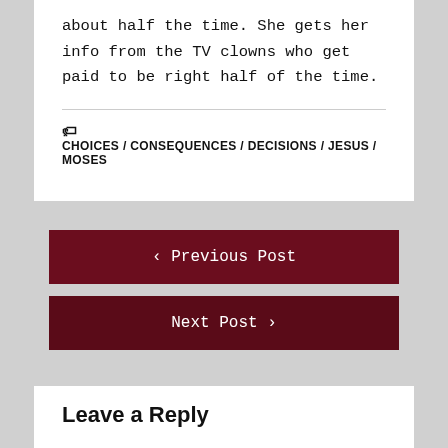about half the time. She gets her info from the TV clowns who get paid to be right half of the time.
CHOICES / CONSEQUENCES / DECISIONS / JESUS / MOSES
< Previous Post
Next Post >
Leave a Reply